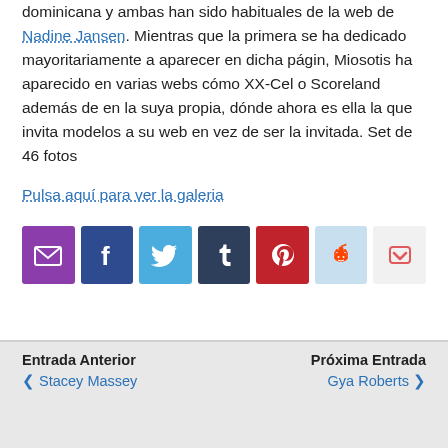dominicana y ambas han sido habituales de la web de Nadine Jansen. Mientras que la primera se ha dedicado mayoritariamente a aparecer en dicha págin, Miosotis ha aparecido en varias webs cómo XX-Cel o Scoreland además de en la suya propia, dónde ahora es ella la que invita modelos a su web en vez de ser la invitada. Set de 46 fotos
Pulsa aquí para ver la galeria
[Figure (infographic): Social sharing icons: email (purple), Facebook (dark blue), Twitter (light blue), Tumblr (dark navy), Pinterest (red), Reddit (light blue), Pocket (light gray)]
Entrada Anterior ❮ Stacey Massey | Próxima Entrada Gya Roberts ❯